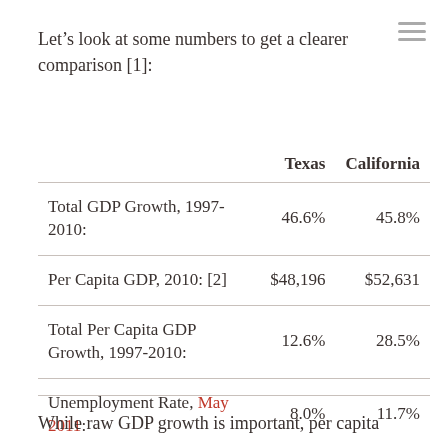Let's look at some numbers to get a clearer comparison [1]:
|  | Texas | California |
| --- | --- | --- |
| Total GDP Growth, 1997-2010: | 46.6% | 45.8% |
| Per Capita GDP, 2010: [2] | $48,196 | $52,631 |
| Total Per Capita GDP Growth, 1997-2010: | 12.6% | 28.5% |
| Unemployment Rate, May 2011: | 8.0% | 11.7% |
While raw GDP growth is important, per capita